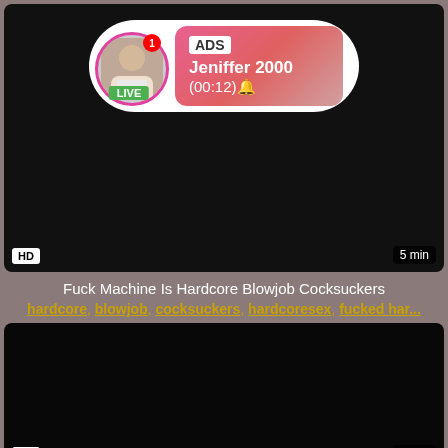[Figure (screenshot): Video thumbnail (dark/black) with a live cam advertisement overlay showing profile photo, LIVE badge, notification dot, and ad info box with 'ADS', 'Jeniffer 2000', '(00:12)'. HD badge bottom-left, '5 min' badge bottom-right.]
Fuck Machine Is Hardcore Blowjob Cocksuckers
hardcore, blowjob, cocksuckers, hardcoresex, fucked har...
[Figure (screenshot): Second video thumbnail, entirely black/dark. HD badge bottom-left, '5 min' bottom-right.]
Having Anal And Teen Hardcore Blowjob